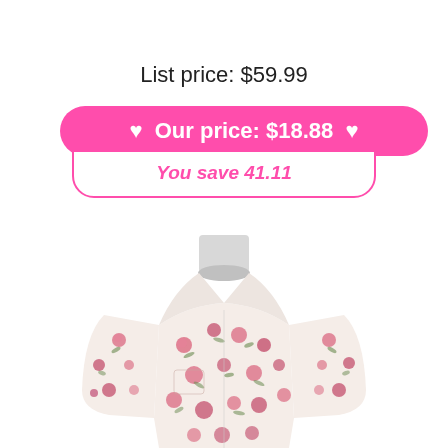List price: $59.99
♥  Our price: $18.88  ♥
You save 41.11
[Figure (photo): A white mannequin torso wearing a short-sleeve button-up blouse with an allover pink floral print on white background.]